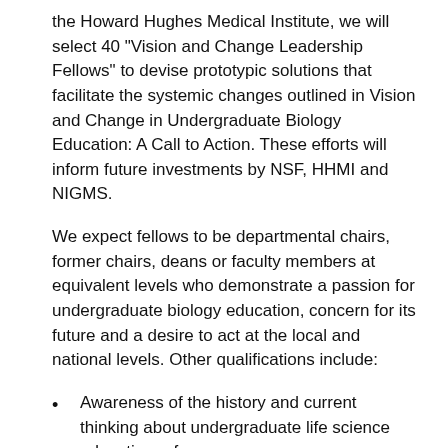the Howard Hughes Medical Institute, we will select 40 "Vision and Change Leadership Fellows" to devise prototypic solutions that facilitate the systemic changes outlined in Vision and Change in Undergraduate Biology Education: A Call to Action. These efforts will inform future investments by NSF, HHMI and NIGMS.
We expect fellows to be departmental chairs, former chairs, deans or faculty members at equivalent levels who demonstrate a passion for undergraduate biology education, concern for its future and a desire to act at the local and national levels. Other qualifications include:
Awareness of the history and current thinking about undergraduate life science education reform.
Undergraduate teaching experience as well as experience mentoring, motivating and